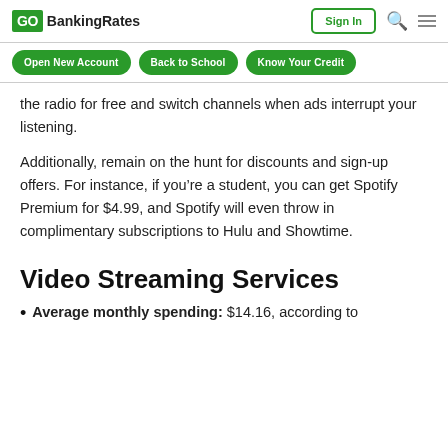GOBankingRates | Sign In
Open New Account | Back to School | Know Your Credit
the radio for free and switch channels when ads interrupt your listening.
Additionally, remain on the hunt for discounts and sign-up offers. For instance, if you’re a student, you can get Spotify Premium for $4.99, and Spotify will even throw in complimentary subscriptions to Hulu and Showtime.
Video Streaming Services
Average monthly spending: $14.16, according to